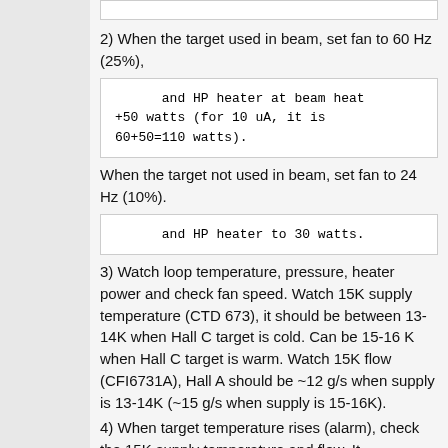2) When the target used in beam, set fan to 60 Hz (25%),
and HP heater at beam heat +50 watts (for 10 uA, it is 60+50=110 watts).
When the target not used in beam, set fan to 24 Hz (10%).
and HP heater to 30 watts.
3) Watch loop temperature, pressure, heater power and check fan speed. Watch 15K supply temperature (CTD 673), it should be between 13-14K when Hall C target is cold. Can be 15-16 K when Hall C target is warm. Watch 15K flow (CFI6731A), Hall A should be ~12 g/s when supply is 13-14K (~15 g/s when supply is 15-16K).
4) When target temperature rises (alarm), check the 15K supply temperature and flow. It